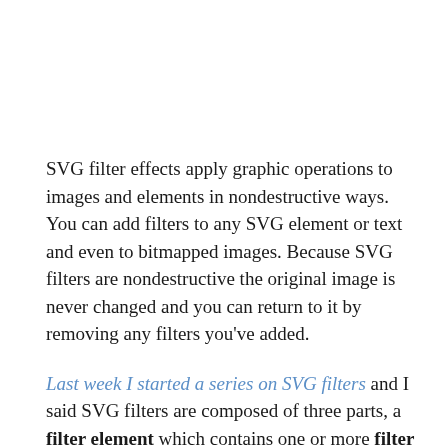SVG filter effects apply graphic operations to images and elements in nondestructive ways. You can add filters to any SVG element or text and even to bitmapped images. Because SVG filters are nondestructive the original image is never changed and you can return to it by removing any filters you've added.
Last week I started a series on SVG filters and I said SVG filters are composed of three parts, a filter element which contains one or more filter primitives that perform a graphic operation like